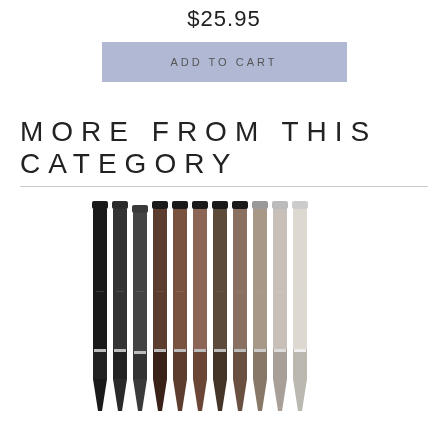$25.95
ADD TO CART
MORE FROM THIS CATEGORY
[Figure (photo): A row of fine-tip pens/markers in various colors from black to gray/taupe, displayed vertically side by side]